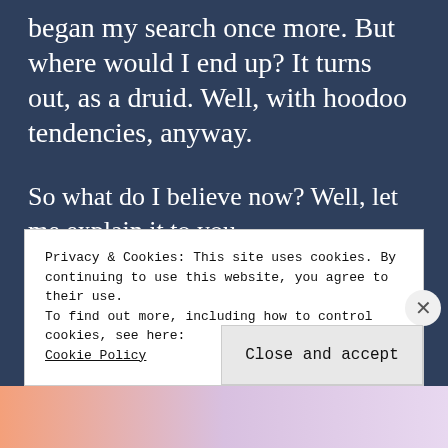began my search once more. But where would I end up? It turns out, as a druid. Well, with hoodoo tendencies, anyway.
So what do I believe now? Well, let me explain it to you.
According to the teachings of druid...
Privacy & Cookies: This site uses cookies. By continuing to use this website, you agree to their use.
To find out more, including how to control cookies, see here:
Cookie Policy
Close and accept